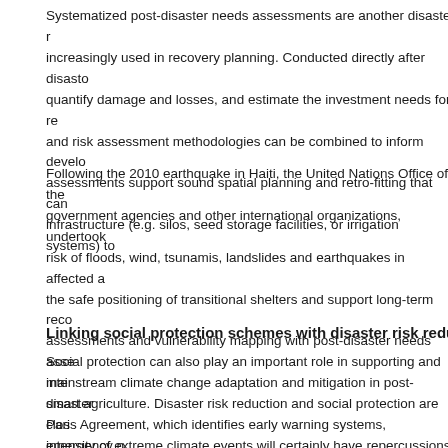Systematized post-disaster needs assessments are another disaster r... increasingly used in recovery planning. Conducted directly after disast... quantify damage and losses, and estimate the investment needs for re... and risk assessment methodologies can be combined to inform develo... assessments support sound spatial planning and retro-fitting that can... infrastructure (e.g. silos, seed storage facilities, or irrigation systems) to...
Following the 2010 earthquake in Haiti, the United Nations Office of the... government agencies and other international organizations, undertook... risk of floods, wind, tsunamis, landslides and earthquakes in affected a... the safe positioning of transitional shelters and support long-term reco... assessments and vulnerability mapping with post-disaster needs asse... mainstream climate change adaptation and mitigation in post-disaster... Paris Agreement, which identifies early warning systems, emergency p... mechanisms as areas for cooperation, marks a major step forward in t... and 8).
Linking social protection schemes with disaster risk redu...
Social protection can also play an important role in supporting and inte... smart agriculture. Disaster risk reduction and social protection are clos... intensity of extreme climate events will certainly have repercussions o... social protection is intended to accomplish. Limited assets or the absen... households and communities to adopt negative coping mechanisms th... 2012). The value of scaling up cash-based programming and risk-infor...